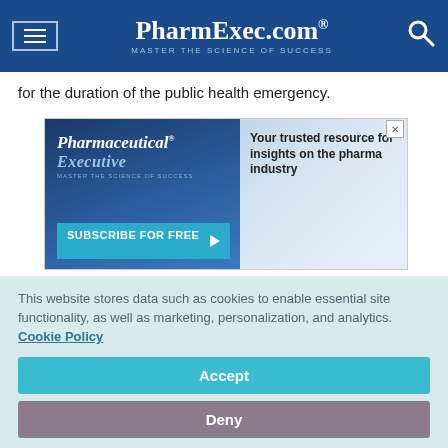PharmExec.com® — MASTER THE SCIENCE OF SUCCESS
for the duration of the public health emergency.
[Figure (screenshot): Pharmaceutical Executive magazine ad banner with 'Subscribe for Free' button. Text: 'Your trusted resource for insights on the pharma industry']
Unlike virtual care and telehealth solutions, however, federal agencies have not yet developed guidance for DTx
This website stores data such as cookies to enable essential site functionality, as well as marketing, personalization, and analytics. Cookie Policy
Accept
Deny